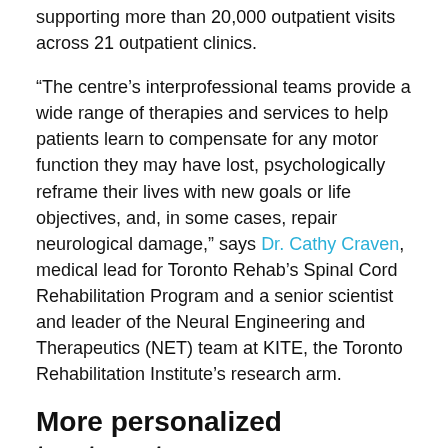supporting more than 20,000 outpatient visits across 21 outpatient clinics.
“The centre’s interprofessional teams provide a wide range of therapies and services to help patients learn to compensate for any motor function they may have lost, psychologically reframe their lives with new goals or life objectives, and, in some cases, repair neurological damage,” says Dr. Cathy Craven, medical lead for Toronto Rehab’s Spinal Cord Rehabilitation Program and a senior scientist and leader of the Neural Engineering and Therapeutics (NET) team at KITE, the Toronto Rehabilitation Institute’s research arm.
More personalized treatments
Depending on their rehabilitation needs, Lyndhurst patients may see physiotherapists, occupational therapists, recreational therapists, psychologists, social workers, respiratory therapists, dietitians, and speech